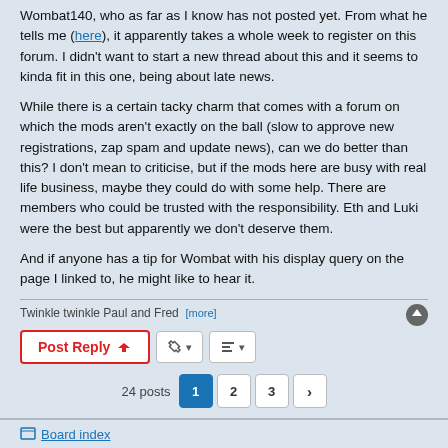Wombat140, who as far as I know has not posted yet. From what he tells me (here), it apparently takes a whole week to register on this forum. I didn't want to start a new thread about this and it seems to kinda fit in this one, being about late news.
While there is a certain tacky charm that comes with a forum on which the mods aren't exactly on the ball (slow to approve new registrations, zap spam and update news), can we do better than this? I don't mean to criticise, but if the mods here are busy with real life business, maybe they could do with some help. There are members who could be trusted with the responsibility. Eth and Luki were the best but apparently we don't deserve them.
And if anyone has a tip for Wombat with his display query on the page I linked to, he might like to hear it.
Twinkle twinkle Paul and Fred [more]
Post Reply | tool buttons | 24 posts 1 2 3 > | Jump to